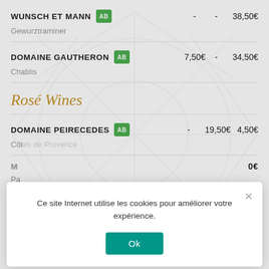WUNSCH ET MANN [AB logo]   -   -   38,50€
Gewurztraminer
DOMAINE GAUTHERON [AB logo]   7,50€   -   34,50€
Chablis
Rosé Wines
DOMAINE PEIRECEDES [AB logo]   -   19,50€   4,50€
Côt... Pr... (partially obscured)
M... (partially obscured)   ...0€
Pa... (partially obscured)
Ce site Internet utilise les cookies pour améliorer votre expérience.
Ok